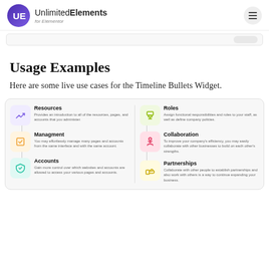Unlimited Elements for Elementor
Usage Examples
Here are some live use cases for the Timeline Bullets Widget.
[Figure (infographic): Timeline bullets widget demo showing 6 items in two columns: Resources, Managment, Accounts (left column) and Roles, Collaboration, Partnerships (right column), each with a colored icon box and short description text.]